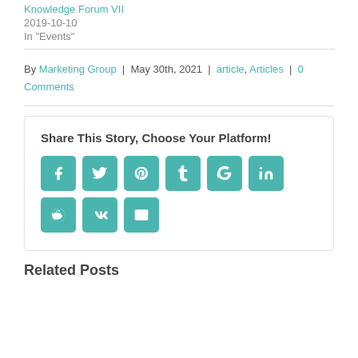Knowledge Forum VII
2019-10-10
In "Events"
By Marketing Group | May 30th, 2021 | article, Articles | 0 Comments
Share This Story, Choose Your Platform!
[Figure (infographic): Social sharing icons: Facebook, Twitter, Pinterest, Tumblr, Google+, LinkedIn, Reddit, VK, Email]
Related Posts